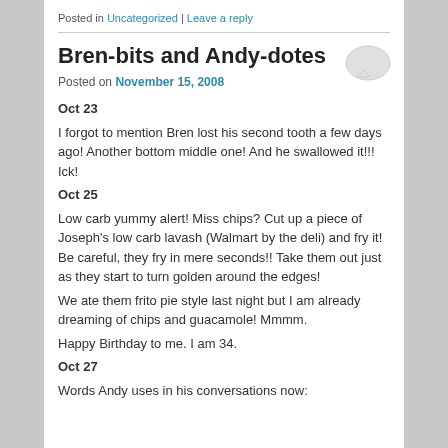Posted in Uncategorized | Leave a reply
Bren-bits and Andy-dotes
Posted on November 15, 2008
Oct 23
I forgot to mention Bren lost his second tooth a few days ago! Another bottom middle one! And he swallowed it!!! Ick!
Oct 25
Low carb yummy alert! Miss chips? Cut up a piece of Joseph's low carb lavash (Walmart by the deli) and fry it! Be careful, they fry in mere seconds!! Take them out just as they start to turn golden around the edges!
We ate them frito pie style last night but I am already dreaming of chips and guacamole! Mmmm.
Happy Birthday to me. I am 34.
Oct 27
Words Andy uses in his conversations now: